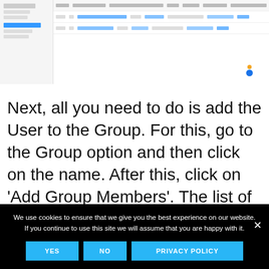[Figure (screenshot): Screenshot of a web application interface showing a sidebar with navigation items and a table/list view with rows of data and a blue dot notification indicator in the upper-right area]
Next, all you need to do is add the User to the Group. For this, go to the Group option and then click on the name. After this, click on 'Add Group Members'. The list of Users
We use cookies to ensure that we give you the best experience on our website. If you continue to use this site we will assume that you are happy with it.
YES
NO
PRIVACY POLICY